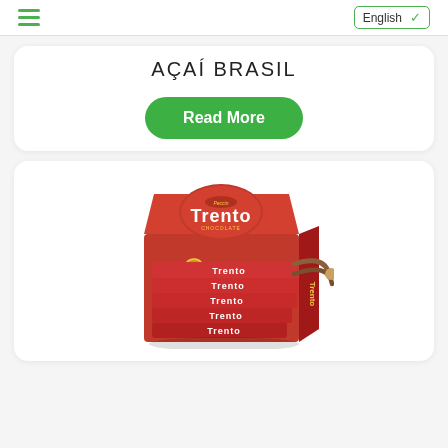≡  English ∨
AÇAÍ BRASIL
Read More
[Figure (photo): A retail display box of Trento chocolate wafer rolls (Peccin brand), showing multiple individual Trento bars arranged in a red box. The box prominently displays the Trento brand name multiple times on individual bar wrappers and the main box.]